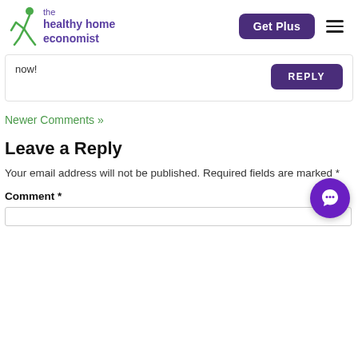the healthy home economist | Get Plus
now!
REPLY
Newer Comments »
Leave a Reply
Your email address will not be published. Required fields are marked *
Comment *